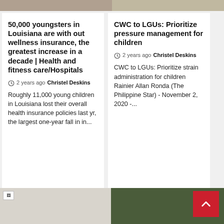[Figure (photo): Top partial image strip left - appears to be a photo (cropped, top portion only)]
[Figure (photo): Top partial image strip right - appears to be a photo (cropped, top portion only)]
50,000 youngsters in Louisiana are with out wellness insurance, the greatest increase in a decade | Health and fitness care/Hospitals
2 years ago  Christel Deskins
Roughly 11,000 young children in Louisiana lost their overall health insurance policies last yr, the largest one-year fall in in...
CWC to LGUs: Prioritize pressure management for children
2 years ago  Christel Deskins
&#13 CWC to LGUs: Prioritize strain administration for children Rainier Allan Ronda (The Philippine Star) - November 2, 2020 -...
[Figure (photo): Bottom left image - broken/missing image placeholder]
[Figure (photo): Bottom right image - forest/trees aerial view]